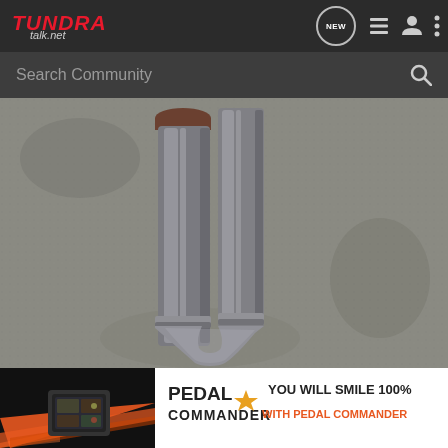TUNDRA talk.net — navigation icons: NEW, list, user, menu
Search Community
[Figure (photo): Close-up photo of two parallel stainless steel exhaust pipes / y-pipe on a concrete floor, showing welds and a flange at the top]
[Figure (photo): Pedal Commander advertisement banner: orange and black design with product image, text reading PEDAL COMMANDER and YOU WILL SMILE 100% WITH PEDAL COMMANDER, with a gold star]